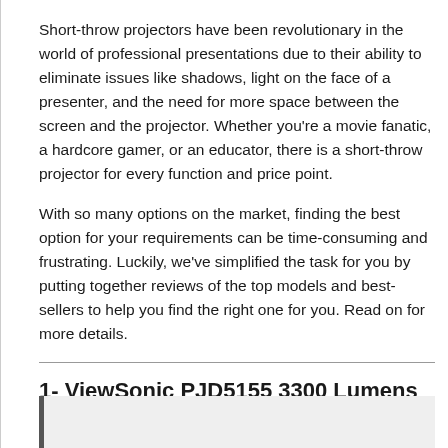Short-throw projectors have been revolutionary in the world of professional presentations due to their ability to eliminate issues like shadows, light on the face of a presenter, and the need for more space between the screen and the projector. Whether you're a movie fanatic, a hardcore gamer, or an educator, there is a short-throw projector for every function and price point.
With so many options on the market, finding the best option for your requirements can be time-consuming and frustrating. Luckily, we've simplified the task for you by putting together reviews of the top models and best-sellers to help you find the right one for you. Read on for more details.
1- ViewSonic PJD5155 3300 Lumens SVGA HDMI Projector
[Figure (photo): Partial image placeholder at bottom of page, gray background with dark left border]